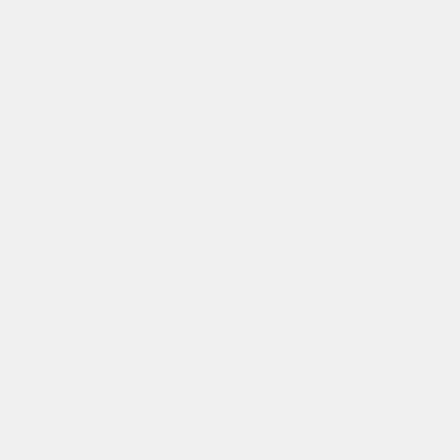(Pentane Isomers)]] ]] [[Vial (Pentane Isomers)|Vial (Pentane Isomers)]]
(Pentane Isomers)]] ]] [[Vial (Pentane Isomers)|Vial (Pentane Isomers)]]
* [[Image:Vessel_vial.png|link=Vial (Hexane Isomers)|32px|alt=Vial (Hexane Isomers)|[[Vial (Hexane Isomers)|V